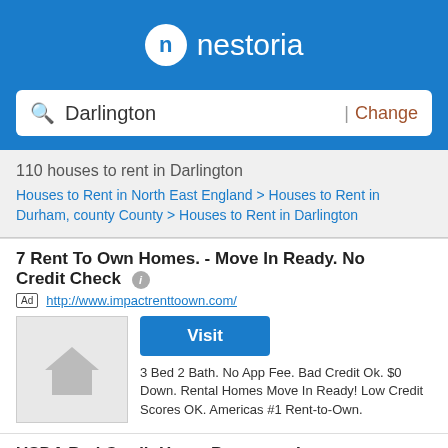[Figure (logo): Nestoria logo with white circle containing 'n' and white text 'nestoria' on blue background]
Darlington | Change
110 houses to rent in Darlington
Houses to Rent in North East England > Houses to Rent in Durham, county County > Houses to Rent in Darlington
7 Rent To Own Homes. - Move In Ready. No Credit Check
Ad http://www.impactrenttoown.com/
Visit
3 Bed 2 Bath. No App Fee. Bad Credit Ok. $0 Down. Rental Homes Move In Ready! Low Credit Scores OK. Americas #1 Rent-to-Own.
USDA Bad Credit Home Program - Instant Qualification
Ad https://usdaloans.us.com/
Visit
Low Downpayment Mortgages
FHA Home Purchase Program
≡ Filter